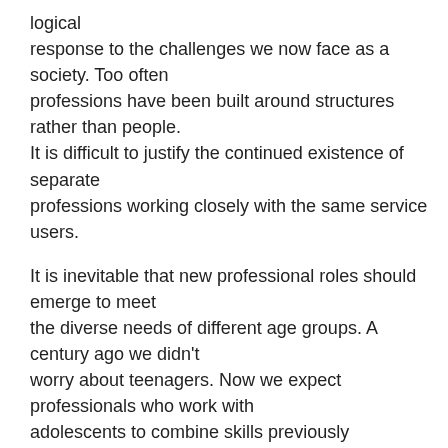logical response to the challenges we now face as a society. Too often professions have been built around structures rather than people. It is difficult to justify the continued existence of separate professions working closely with the same service users.
It is inevitable that new professional roles should emerge to meet the diverse needs of different age groups. A century ago we didn't worry about teenagers. Now we expect professionals who work with adolescents to combine skills previously associated with youth and community work, social work, adolescent mental health and careers services.